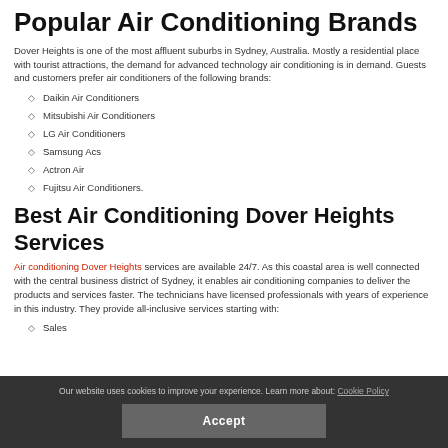Popular Air Conditioning Brands
Dover Heights is one of the most affluent suburbs in Sydney, Australia. Mostly a residential place with tourist attractions, the demand for advanced technology air conditioning is in demand. Guests and customers prefer air conditioners of the following brands:
Daikin Air Conditioners
Mitsubishi Air Conditioners
LG Air Conditioners
Samsung Acs
Actron Air
Fujitsu Air Conditioners.
Best Air Conditioning Dover Heights Services
Air conditioning Dover Heights services are available 24/7. As this coastal area is well connected with the central business district of Sydney, it enables air conditioning companies to deliver the products and services faster. The technicians have licensed professionals with years of experience in this industry. They provide all-inclusive services starting with:
Sales
Our website uses cookies to improve your experience. Learn more about: Cookie Policy  Accept